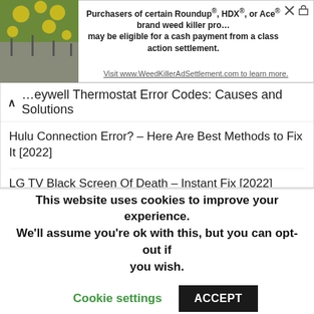[Figure (screenshot): Advertisement banner with plant/flower image on left and text about Roundup/HDX/Ace weed killer class action settlement on right]
Honeywell Thermostat Error Codes: Causes and Solutions
Hulu Connection Error? – Here Are Best Methods to Fix It [2022]
LG TV Black Screen Of Death – Instant Fix [2022]
Soft white vs Daylight – Which One is Best For You? [2022]
How to Bypass Garage Door Sensors? – Instant Fixing [2022]
TCL TV Won't Turn On? – Here Are Top Methods To Get It Fixed Instantly
This website uses cookies to improve your experience. We'll assume you're ok with this, but you can opt-out if you wish.
Cookie settings   ACCEPT